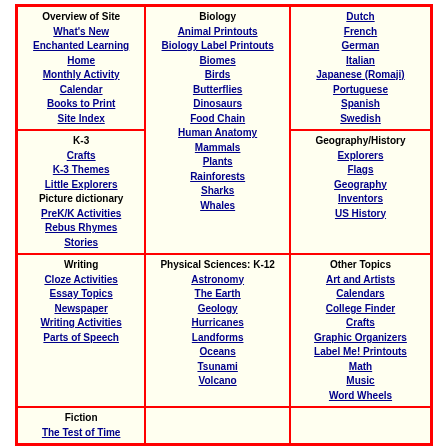| Overview of Site
What's New
Enchanted Learning Home
Monthly Activity Calendar
Books to Print
Site Index | Biology
Animal Printouts
Biology Label Printouts
Biomes
Birds
Butterflies
Dinosaurs
Food Chain
Human Anatomy
Mammals
Plants
Rainforests
Sharks
Whales | Dutch
French
German
Italian
Japanese (Romaji)
Portuguese
Spanish
Swedish |
| K-3
Crafts
K-3 Themes
Little Explorers
Picture dictionary
PreK/K Activities
Rebus Rhymes
Stories |  | Geography/History
Explorers
Flags
Geography
Inventors
US History |
| Writing
Cloze Activities
Essay Topics
Newspaper
Writing Activities
Parts of Speech | Physical Sciences: K-12
Astronomy
The Earth
Geology
Hurricanes
Landforms
Oceans
Tsunami
Volcano | Other Topics
Art and Artists
Calendars
College Finder
Crafts
Graphic Organizers
Label Me! Printouts
Math
Music
Word Wheels |
| Fiction
The Test of Time |  |  |
Click to read our Privacy Policy
E-mail